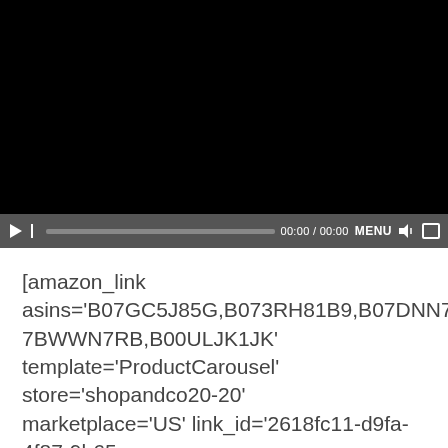[Figure (screenshot): A black video player with playback controls at the bottom including a play button, pause/step button, progress bar, time display showing 00:00 / 00:00, MENU label, volume icon, and fullscreen icon on a dark grey control bar.]
[amazon_link asins='B07GC5J85G,B073RH81B9,B07DNN7CZD,B07BWWN7RB,B00ULJK1JK' template='ProductCarousel' store='shopandco20-20' marketplace='US' link_id='2618fc11-d9fa-4f87-9b65-